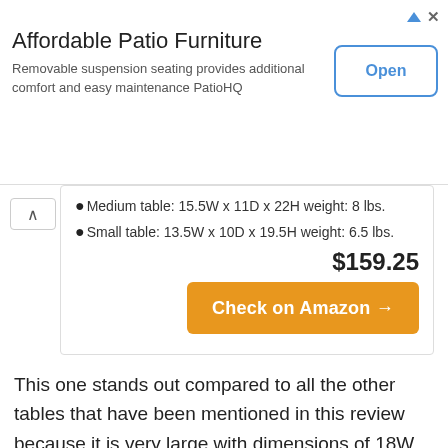[Figure (other): Advertisement banner for Affordable Patio Furniture with Open button]
Medium table: 15.5W x 11D x 22H weight: 8 lbs.
Small table: 13.5W x 10D x 19.5H weight: 6.5 lbs.
$159.25
Check on Amazon →
This one stands out compared to all the other tables that have been mentioned in this review because it is very large with dimensions of 18W by 12D by 23.5H and weighs at about 9.2lbs. However, it has two other tables medium and small. It has sleek legs that offer stable stand and look in the place where the table has been placed making it look elevated. You can place the